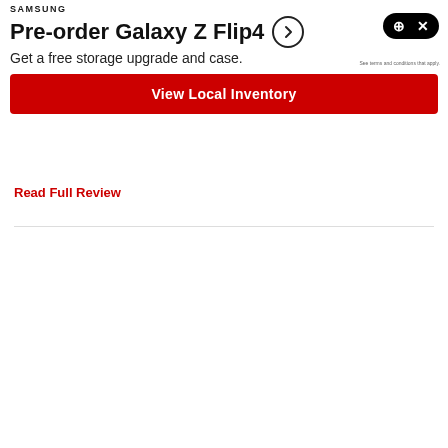[Figure (screenshot): Samsung ad banner with logo, Galaxy Z Flip4 pre-order text, arrow button, gaming controller close icon, subtitle about free storage upgrade and case, fine print, red CTA button for View Local Inventory]
Read Full Review